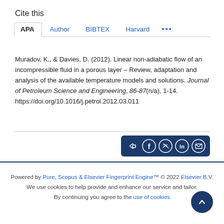Cite this
APA | Author | BIBTEX | Harvard | ...
Muradov, K., & Davies, D. (2012). Linear non-adiabatic flow of an incompressible fluid in a porous layer – Review, adaptation and analysis of the available temperature models and solutions. Journal of Petroleum Science and Engineering, 86-87(n/a), 1-14. https://doi.org/10.1016/j.petrol.2012.03.011
[Figure (infographic): Social share bar with icons for share, Facebook, Twitter, LinkedIn, and email on a dark navy background]
Powered by Pure, Scopus & Elsevier Fingerprint Engine™ © 2022 Elsevier B.V.
We use cookies to help provide and enhance our service and tailor. By continuing you agree to the use of cookies